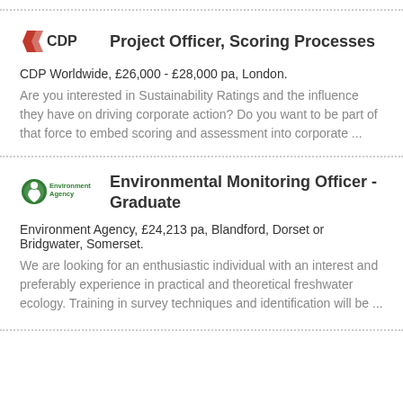Project Officer, Scoring Processes
CDP Worldwide, £26,000 - £28,000 pa, London.
Are you interested in Sustainability Ratings and the influence they have on driving corporate action? Do you want to be part of that force to embed scoring and assessment into corporate ...
Environmental Monitoring Officer - Graduate
Environment Agency, £24,213 pa, Blandford, Dorset or Bridgwater, Somerset.
We are looking for an enthusiastic individual with an interest and preferably experience in practical and theoretical freshwater ecology. Training in survey techniques and identification will be ...